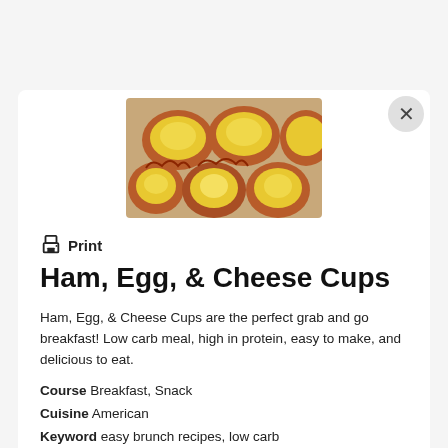[Figure (photo): Photo of ham, egg, and cheese cups in a muffin tin — bacon-wrapped cups filled with scrambled eggs and melted cheese]
🖨 Print
Ham, Egg, & Cheese Cups
Ham, Egg, & Cheese Cups are the perfect grab and go breakfast! Low carb meal, high in protein, easy to make, and delicious to eat.
Course  Breakfast, Snack
Cuisine  American
Keyword  easy brunch recipes, low carb
Prep Time  10 minutes
Cook Time  10 minutes